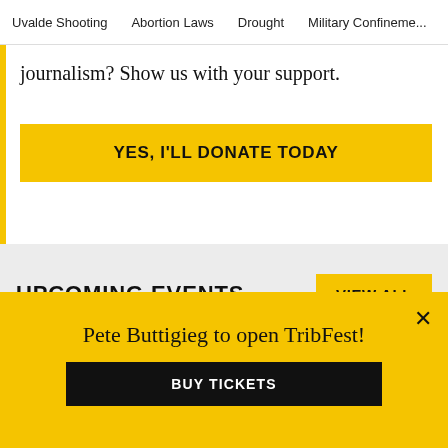Uvalde Shooting  Abortion Laws  Drought  Military Confinement
journalism? Show us with your support.
YES, I'LL DONATE TODAY
UPCOMING EVENTS
VIEW ALL
[Figure (photo): Yellow background with black-and-white Texas state flag on the left and a dark metal star sculpture on the right, with a white progress bar overlay near the bottom]
Pete Buttigieg to open TribFest!
BUY TICKETS